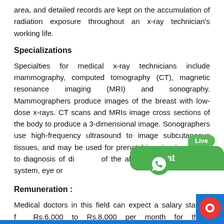area, and detailed records are kept on the accumulation of radiation exposure throughout an x-ray technician's working life.
Specializations
Specialties for medical x-ray technicians include mammography, computed tomography (CT), magnetic resonance imaging (MRI) and sonography. Mammographers produce images of the breast with low-dose x-rays. CT scans and MRIs image cross sections of the body to produce a 3-dimensional image. Sonographers use high-frequency ultrasound to image subcutaneous tissues, and may be used for prenatal imaging in addition to diagnosis of diseases of the abdomen, cardiovascular system, eye or...
Remuneration :
Medical doctors in this field can expect a salary starting from Rs.6,000 to Rs.8,000 per month for those working...